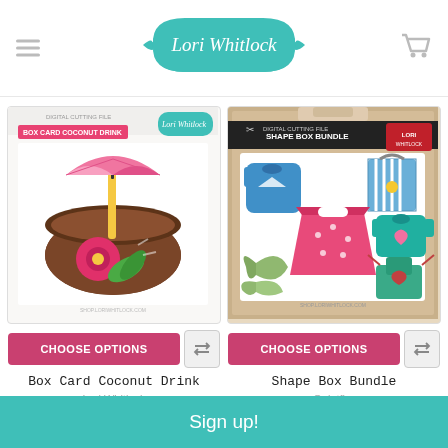[Figure (logo): Lori Whitlock brand logo - teal decorative badge with script text 'Lori Whitlock']
[Figure (photo): Box Card Coconut Drink product image - paper craft coconut drink with pink umbrella and hibiscus flower]
[Figure (photo): Shape Box Bundle product image - paper craft clothing shapes including dresses, onesies, butterfly, apron, and bag]
CHOOSE OPTIONS
CHOOSE OPTIONS
Box Card Coconut Drink
Shape Box Bundle
Lori Whitlock
Quietfire
$13.45
Sign up!